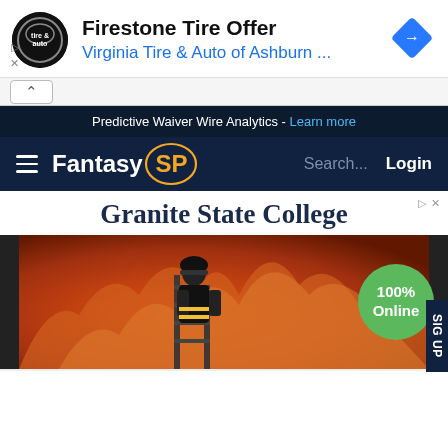[Figure (screenshot): Top ad banner for Firestone Tire Offer / Virginia Tire & Auto of Ashburn with logo and navigation icon]
Firestone Tire Offer
Virginia Tire & Auto of Ashburn ...
Predictive Waiver Wire Analytics - Learn more
Fantasy SP
Search...  Login
[Figure (screenshot): Advertisement for Granite State College showing 100% Online badge over a firefighter image]
Granite State College
100% Online